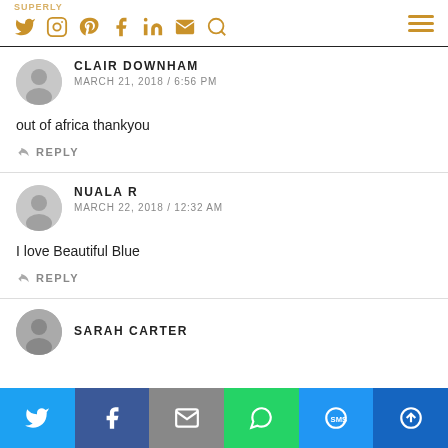SUPERLY — nav icons: Twitter, Instagram, Pinterest, Facebook, LinkedIn, Email, Search, Hamburger menu
CLAIR DOWNHAM
MARCH 21, 2018 / 6:56 PM
out of africa thankyou
REPLY
NUALA R
MARCH 22, 2018 / 12:32 AM
I love Beautiful Blue
REPLY
SARAH CARTER
Share buttons: Twitter, Facebook, Email, WhatsApp, SMS, More